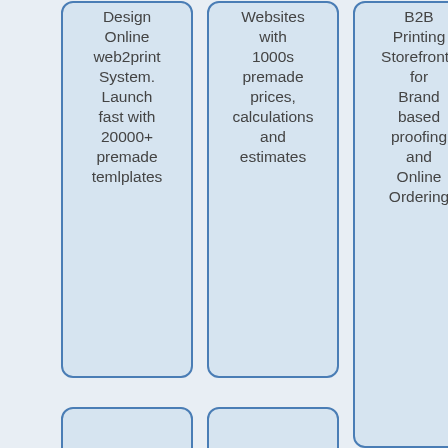[Figure (infographic): Three tall rounded-rectangle cards side by side on a light blue-grey background. Left card: 'Design Online web2print System. Launch fast with 20000+ premade temlplates'. Middle card: 'Websites with 1000s premade prices, calculations and estimates'. Right card: 'B2B Printing Storefronts for Brand based proofing and Online Ordering'. Below the three cards are two partial smaller cards visible at the bottom.]